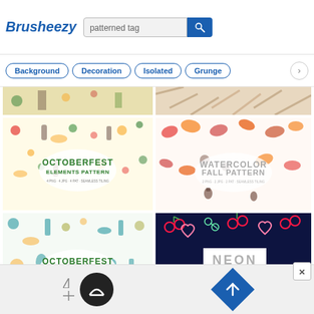[Figure (screenshot): Brusheezy website header with logo, search bar showing 'patterned tag', and search button]
[Figure (screenshot): Navigation tag buttons: Background, Decoration, Isolated, Grunge with right arrow]
[Figure (screenshot): Partial top strip of two pattern images cropped at top]
[Figure (illustration): Octoberfest Elements Pattern - colorful Oktoberfest icons on white background with green/yellow/brown illustrated elements]
[Figure (illustration): Watercolor Fall Pattern - watercolor autumn leaves, acorns, oak leaves in orange, red, yellow]
[Figure (illustration): Octoberfest Elements Pattern (second version) - teal/gold/brown illustrated Oktoberfest elements on white]
[Figure (illustration): Neon Patterns - neon-style illustrations of cherries, hearts, scissors on dark navy background with NEON PATTERNS label]
[Figure (screenshot): Advertisement banner at bottom with dark circular icon and blue diamond icon]